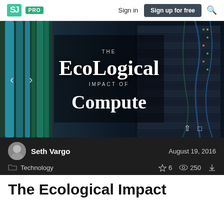Speaker Deck | PRO | Sign in | Sign up for free
[Figure (screenshot): Slide deck cover image showing server room with cables. Title text reads: THE EcoLogical IMPACT OF Compute]
Seth Vargo   August 19, 2016
Technology   ☆ 6   👁 250   ↓
The Ecological Impact...